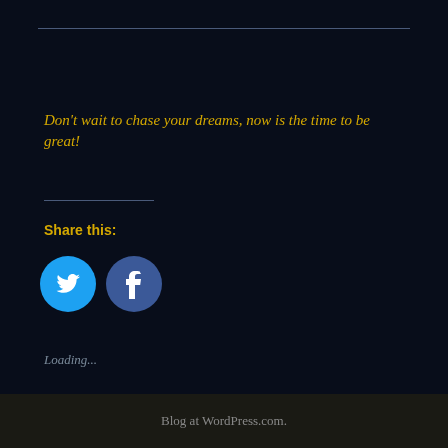Don't wait to chase your dreams, now is the time to be great!
Share this:
[Figure (other): Twitter and Facebook share buttons as blue circular icons with white social media logos]
Loading...
Blog at WordPress.com.